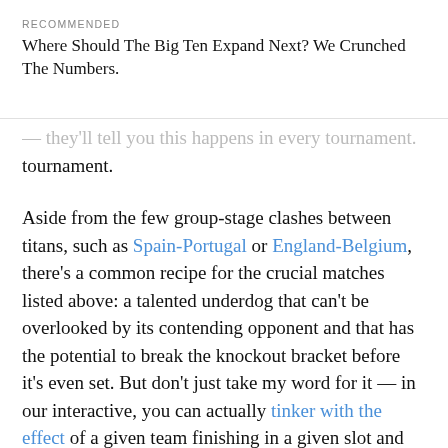RECOMMENDED
Where Should The Big Ten Expand Next? We Crunched The Numbers.
tournament.
Aside from the few group-stage clashes between titans, such as Spain-Portugal or England-Belgium, there's a common recipe for the crucial matches listed above: a talented underdog that can't be overlooked by its contending opponent and that has the potential to break the knockout bracket before it's even set. But don't just take my word for it — in our interactive, you can actually tinker with the effect of a given team finishing in a given slot and see how it changes the overall odds.
So with all that said, all that's left is to enjoy the action on the pitch. Check our model for the latest odds and